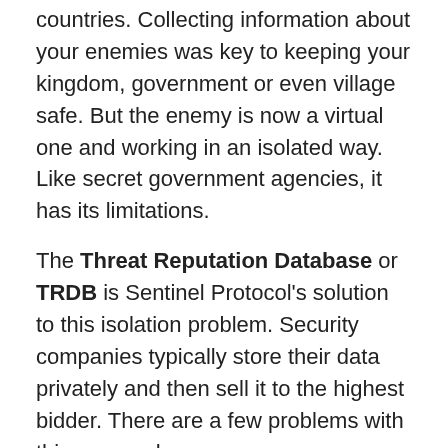countries. Collecting information about your enemies was key to keeping your kingdom, government or even village safe. But the enemy is now a virtual one and working in an isolated way. Like secret government agencies, it has its limitations.
The Threat Reputation Database or TRDB is Sentinel Protocol's solution to this isolation problem. Security companies typically store their data privately and then sell it to the highest bidder. There are a few problems with this approach:
Information that could benefit the general public is not made available to all.
Security experts in these companies would love to contribute their findings to the public but can't due to non-disclosure agreements.
Finally, those experts who work independently often don't get paid for providing free analysis.